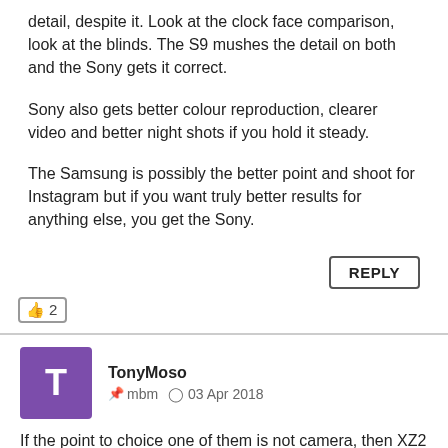detail, despite it. Look at the clock face comparison, look at the blinds. The S9 mushes the detail on both and the Sony gets it correct.
Sony also gets better colour reproduction, clearer video and better night shots if you hold it steady.
The Samsung is possibly the better point and shoot for Instagram but if you want truly better results for anything else, you get the Sony.
REPLY
2
TonyMoso  mbm  03 Apr 2018
If the point to choice one of them is not camera, then XZ2 is clear "go" becouse of: system optimalisation, updates, performance, cleanest android is go for Sony (ex, my Z1 is running smoother than my S7 and is 2yrs older) And If U add this year many features form Sony the choice is only one.